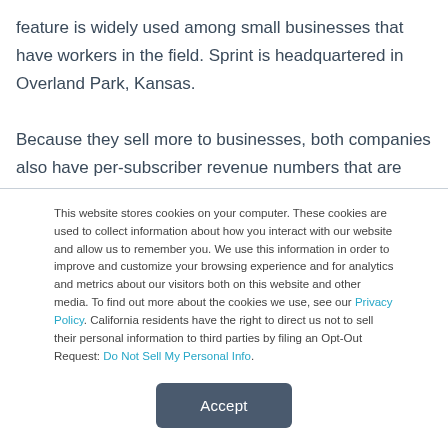feature is widely used among small businesses that have workers in the field. Sprint is headquartered in Overland Park, Kansas.

Because they sell more to businesses, both companies also have per-subscriber revenue numbers that are above the industry average.
This website stores cookies on your computer. These cookies are used to collect information about how you interact with our website and allow us to remember you. We use this information in order to improve and customize your browsing experience and for analytics and metrics about our visitors both on this website and other media. To find out more about the cookies we use, see our Privacy Policy. California residents have the right to direct us not to sell their personal information to third parties by filing an Opt-Out Request: Do Not Sell My Personal Info.
Accept